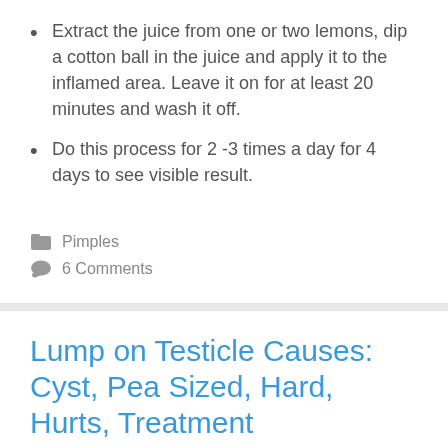Extract the juice from one or two lemons, dip a cotton ball in the juice and apply it to the inflamed area. Leave it on for at least 20 minutes and wash it off.
Do this process for 2 -3 times a day for 4 days to see visible result.
Pimples
6 Comments
Lump on Testicle Causes: Cyst, Pea Sized, Hard, Hurts, Treatment
September 5, 2016 by Tim